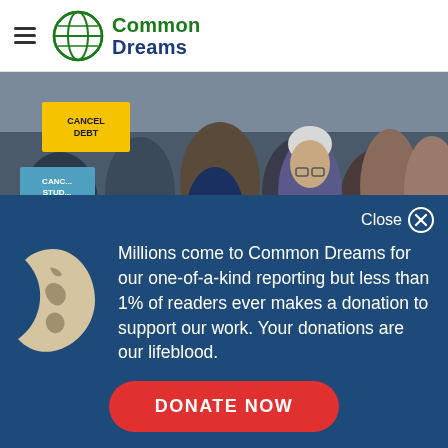Common Dreams
[Figure (photo): Protest rally with people holding signs reading 'CANCEL DEBT' and 'STUDENT' debt related messages; Bernie Sanders speaking into a microphone at center with NAACP supporters around him.]
Close ✕
[Figure (logo): Common Dreams globe illustration: crescent moon shape with world map continents in beige/cream on dark blue background]
Millions come to Common Dreams for our one-of-a-kind reporting but less than 1% of readers ever makes a donation to support our work. Your donations are our lifeblood.
DONATE NOW